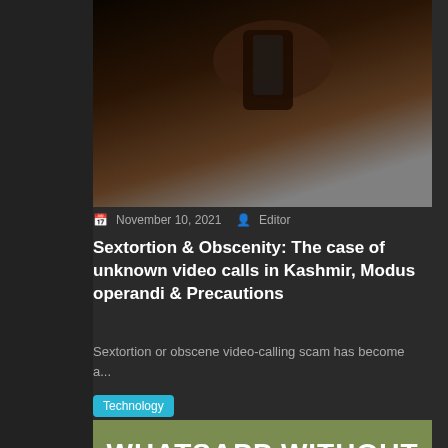[Figure (photo): Dark photo of a hand holding a smartphone, dimly lit background]
November 10, 2021   Editor
Sextortion & Obscenity: The case of unknown video calls in Kashmir, Modus operandi & Precautions
Sextortion or obscene video-calling scam has become a...
Technology
[Figure (photo): WhatsApp without Internet promotional image showing WhatsApp logo on a smartphone screen with text overlay]